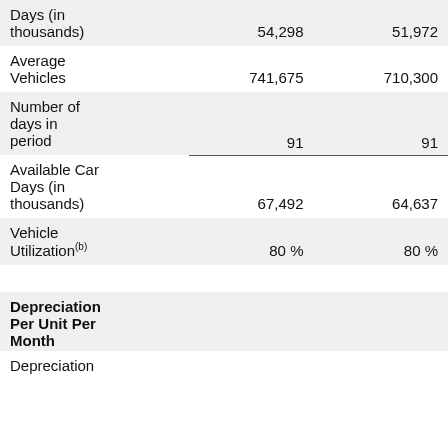|  | Col1 | Col2 |
| --- | --- | --- |
| Days (in thousands) | 54,298 | 51,972 |
| Average Vehicles | 741,675 | 710,300 |
| Number of days in period | 91 | 91 |
| Available Car Days (in thousands) | 67,492 | 64,637 |
| Vehicle Utilization(b) | 80 % | 80 % |
| Depreciation Per Unit Per Month |  |  |
| Depreciation |  |  |